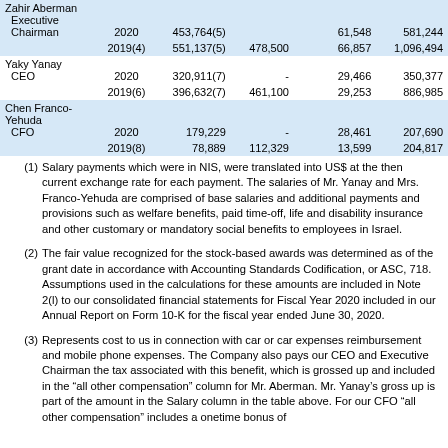| Name/Title | Year | Salary | Stock Awards |  | All Other Compensation | Total |
| --- | --- | --- | --- | --- | --- | --- |
| Zahir Aberman Executive Chairman | 2020 | 453,764(5) |  |  | 81,548 | 581,244 |
|  | 2019(4) | 551,137(5) | 478,500 |  | 66,857 | 1,096,494 |
| Yaky Yanay CEO | 2020 | 320,911(7) | - |  | 29,466 | 350,377 |
|  | 2019(6) | 396,632(7) | 461,100 |  | 29,253 | 886,985 |
| Chen Franco-Yehuda CFO | 2020 | 179,229 | - |  | 28,461 | 207,690 |
|  | 2019(8) | 78,889 | 112,329 |  | 13,599 | 204,817 |
(1) Salary payments which were in NIS, were translated into US$ at the then current exchange rate for each payment. The salaries of Mr. Yanay and Mrs. Franco-Yehuda are comprised of base salaries and additional payments and provisions such as welfare benefits, paid time-off, life and disability insurance and other customary or mandatory social benefits to employees in Israel.
(2) The fair value recognized for the stock-based awards was determined as of the grant date in accordance with Accounting Standards Codification, or ASC, 718. Assumptions used in the calculations for these amounts are included in Note 2(l) to our consolidated financial statements for Fiscal Year 2020 included in our Annual Report on Form 10-K for the fiscal year ended June 30, 2020.
(3) Represents cost to us in connection with car or car expenses reimbursement and mobile phone expenses. The Company also pays our CEO and Executive Chairman the tax associated with this benefit, which is grossed up and included in the "all other compensation" column for Mr. Aberman. Mr. Yanay's gross up is part of the amount in the Salary column in the table above. For our CFO "all other compensation" includes a onetime bonus of